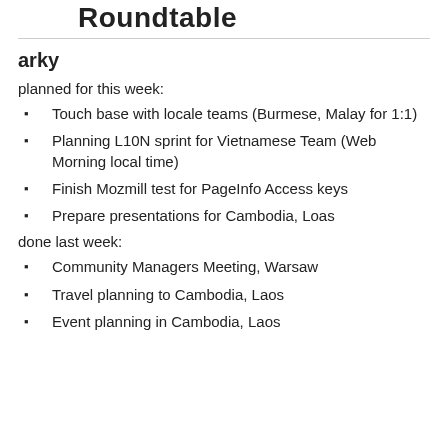Roundtable
arky
planned for this week:
Touch base with locale teams (Burmese, Malay for 1:1)
Planning L10N sprint for Vietnamese Team (Web Morning local time)
Finish Mozmill test for PageInfo Access keys
Prepare presentations for Cambodia, Loas
done last week:
Community Managers Meeting, Warsaw
Travel planning to Cambodia, Laos
Event planning in Cambodia, Laos